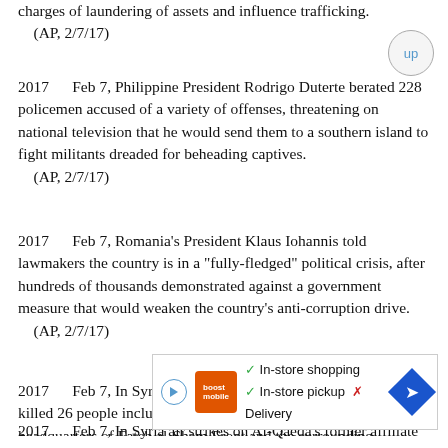charges of laundering of assets and influence trafficking.
    (AP, 2/7/17)
2017      Feb 7, Philippine President Rodrigo Duterte berated 228 policemen accused of a variety of offenses, threatening on national television that he would send them to a southern island to fight militants dreaded for beheading captives.
    (AP, 2/7/17)
2017      Feb 7, Romania's President Klaus Iohannis told lawmakers the country is in a "fully-fledged" political crisis, after hundreds of thousands demonstrated against a government measure that would weaken the country's anti-corruption drive.
    (AP, 2/7/17)
2017      Feb 7, In Syria air strikes on Al-Qaeda's former affiliate killed 26 people including 16 civilians in Idlib city. The headquarters of Fateh al-Sham Front and the surrounding neighborhood were battered by at least 10 air strikes.
[Figure (other): Advertisement banner for Boost Mobile showing in-store shopping, in-store pickup available, delivery with X mark, and navigation arrow icon.]